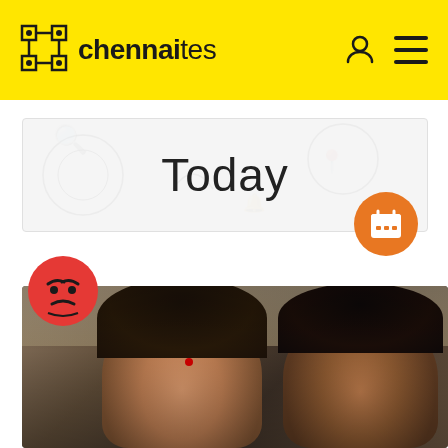chennaites
Today
[Figure (photo): News article photo showing two people (a woman with a red bindi and a man) with serious expressions, overlaid with an angry emoji icon in the top-left corner and an orange calendar icon button]
[Figure (infographic): Orange circular calendar icon button]